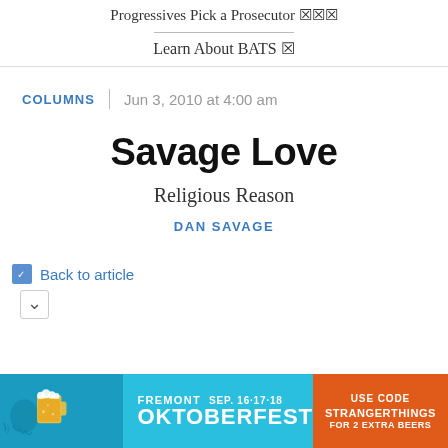Progressives Pick a Prosecutor 🔗
Learn About BATS 🔗
COLUMNS | Jun 3, 2010 at 4:00 am
Savage Love
Religious Reason
DAN SAVAGE
Back to article
[Figure (infographic): Fremont Oktoberfest advertisement banner. Teal/blue background on left with illustrated beer mug and jellyfish imagery. Center text: FREMONT OKTOBERFEST SEP. 16·17·18. Orange right panel: USE CODE STRANGERTHINGS FOR 2 EXTRA BEERS]